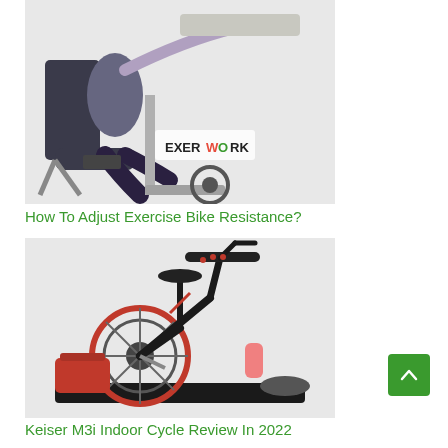[Figure (photo): Person sitting on an ExerWork recumbent exercise bike with a laptop desk attachment, typing on keyboard. The machine is white/grey and black. The rider wears a grey tank top and dark capri leggings.]
How To Adjust Exercise Bike Resistance?
[Figure (photo): Keiser M3i indoor cycle spinning bike in black and red, shown with accessories including a red bag, pink water bottle, and seat cushion on a black mat.]
Keiser M3i Indoor Cycle Review In 2022